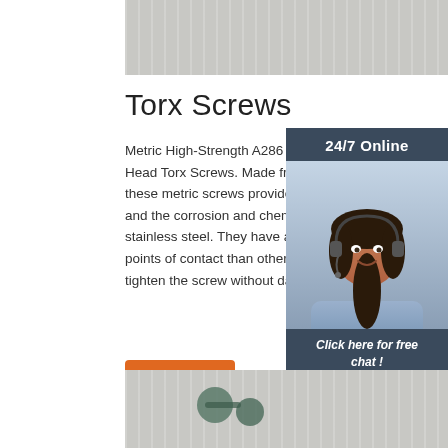[Figure (photo): Top image showing screws on a light gray wooden background]
Torx Screws
Metric High-Strength A286 StainlessSteel Bu... Head Torx Screws. Made from A286 stainles... these metric screws provide the strength of a... and the corrosion and chemical resistance o... stainless steel. They have a Torx drive that h... points of contact than other drives, allowing y... tighten the screw without damaging ...
[Figure (photo): Sidebar with 24/7 Online customer service representative photo, 'Click here for free chat!' text, and QUOTATION button]
Get Price
[Figure (photo): Bottom image showing screws on a light gray wooden background]